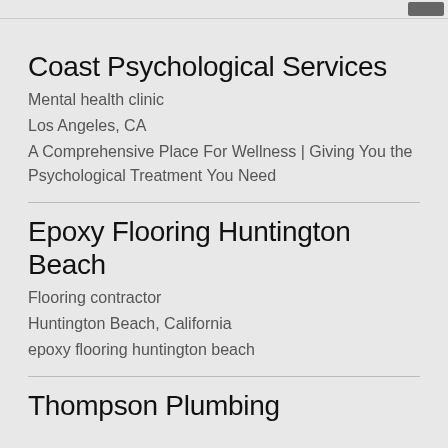Coast Psychological Services
Mental health clinic
Los Angeles, CA
A Comprehensive Place For Wellness | Giving You the Psychological Treatment You Need
Epoxy Flooring Huntington Beach
Flooring contractor
Huntington Beach, California
epoxy flooring huntington beach
Thompson Plumbing